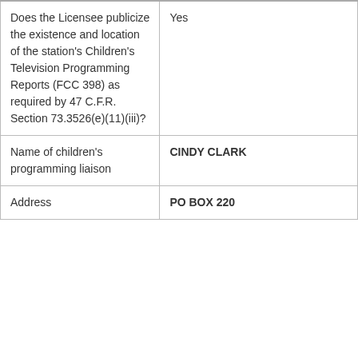| Does the Licensee publicize the existence and location of the station's Children's Television Programming Reports (FCC 398) as required by 47 C.F.R. Section 73.3526(e)(11)(iii)? | Yes |
| Name of children's programming liaison | CINDY CLARK |
| Address | PO BOX 220 |